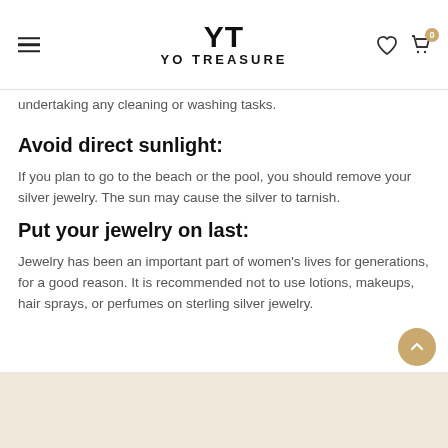YT YO TREASURE
undertaking any cleaning or washing tasks.
Avoid direct sunlight:
If you plan to go to the beach or the pool, you should remove your silver jewelry. The sun may cause the silver to tarnish.
Put your jewelry on last:
Jewelry has been an important part of women's lives for generations, for a good reason. It is recommended not to use lotions, makeups, hair sprays, or perfumes on sterling silver jewelry.
[Figure (photo): Bottom portion of a product/lifestyle photo with beige/cream background]